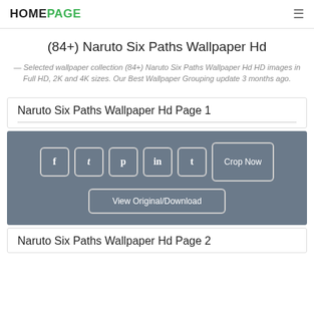HOMEPAGE  ☰
(84+) Naruto Six Paths Wallpaper Hd
— Selected wallpaper collection (84+) Naruto Six Paths Wallpaper Hd HD images in Full HD, 2K and 4K sizes. Our Best Wallpaper Grouping update 3 months ago.
Naruto Six Paths Wallpaper Hd Page 1
[Figure (infographic): Social sharing buttons: Facebook (f), Twitter (t), Pinterest (p), LinkedIn (in), Tumblr (t), Crop Now button, and View Original/Download button on a dark grey background]
Naruto Six Paths Wallpaper Hd Page 2